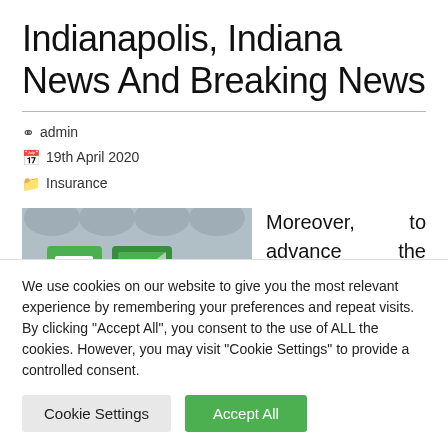Indianapolis, Indiana News And Breaking News
admin
19th April 2020
Insurance
[Figure (illustration): Illustration showing green icons representing financial/insurance documents and charts on a gray background]
Moreover, to advance the quality of infrastructure
We use cookies on our website to give you the most relevant experience by remembering your preferences and repeat visits. By clicking "Accept All", you consent to the use of ALL the cookies. However, you may visit "Cookie Settings" to provide a controlled consent.